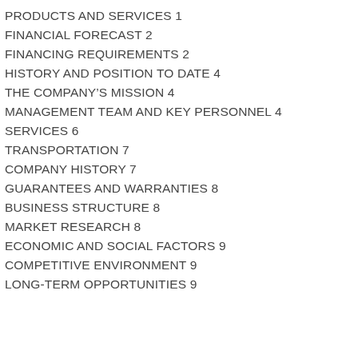PRODUCTS AND SERVICES 1
FINANCIAL FORECAST 2
FINANCING REQUIREMENTS 2
HISTORY AND POSITION TO DATE 4
THE COMPANY'S MISSION 4
MANAGEMENT TEAM AND KEY PERSONNEL 4
SERVICES 6
TRANSPORTATION 7
COMPANY HISTORY 7
GUARANTEES AND WARRANTIES 8
BUSINESS STRUCTURE 8
MARKET RESEARCH 8
ECONOMIC AND SOCIAL FACTORS 9
COMPETITIVE ENVIRONMENT 9
LONG-TERM OPPORTUNITIES 9